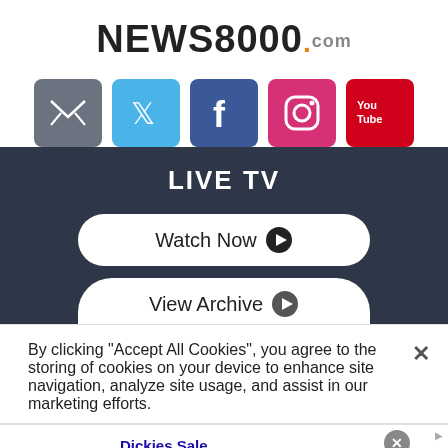NEWS8000.com
[Figure (logo): Social media icons row: email (gray), Twitter (blue), Facebook (blue), Instagram (pink/red), YouTube (red)]
LIVE TV
[Figure (screenshot): Watch Now button with play circle icon, and View Archive button below]
By clicking “Accept All Cookies”, you agree to the storing of cookies on your device to enhance site navigation, analyze site usage, and assist in our marketing efforts.
[Figure (infographic): Advertisement banner: Dickies Sale - Dickies has been making workwear and apparel since 1922. ... www.dickies.com]